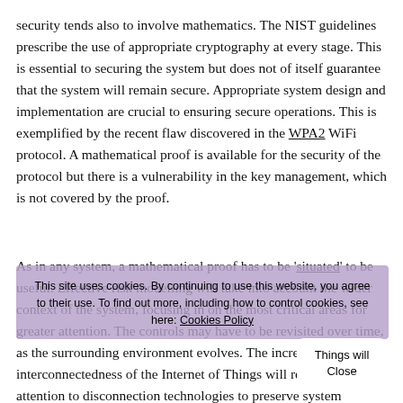security tends also to involve mathematics. The NIST guidelines prescribe the use of appropriate cryptography at every stage. This is essential to securing the system but does not of itself guarantee that the system will remain secure. Appropriate system design and implementation are crucial to ensuring secure operations. This is exemplified by the recent flaw discovered in the WPA2 WiFi protocol. A mathematical proof is available for the security of the protocol but there is a vulnerability in the key management, which is not covered by the proof.
As in any system, a mathematical proof has to be 'situated' to be useful. Effective risk modelling will take into account the wider context of the system, focusing in on the most critical areas for greater attention. The controls may have to be revisited over time, as the surrounding environment evolves. The increasing interconnectedness of the Internet of Things will require greater attention to disconnection technologies to preserve system integrity over time.
This site uses cookies. By continuing to use this website, you agree to their use. To find out more, including how to control cookies, see here: Cookies Policy
Things will Close